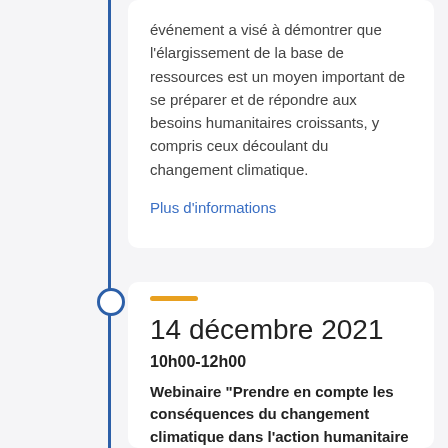événement a visé à démontrer que l'élargissement de la base de ressources est un moyen important de se préparer et de répondre aux besoins humanitaires croissants, y compris ceux découlant du changement climatique.
Plus d'informations
14 décembre 2021
10h00-12h00
Webinaire "Prendre en compte les conséquences du changement climatique dans l'action humanitaire en renforçant les actions